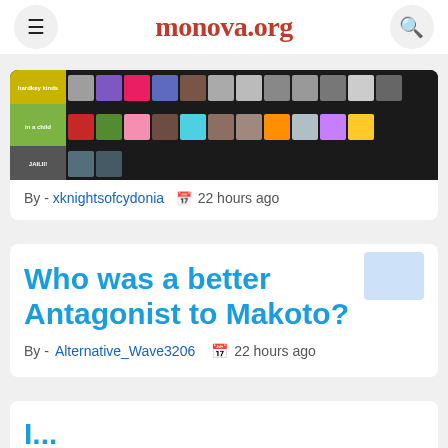monova.org
[Figure (screenshot): Tier list image showing anime characters arranged in rows with colored tier labels]
By - xknightsofcydonia   22 hours ago
Who was a better Antagonist to Makoto?
By - Alternative_Wave3206   22 hours ago
I...